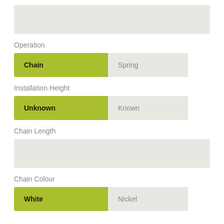[Figure (other): Gray placeholder image block at top of page]
Operation
Chain (active/selected), Spring (inactive option)
Installation Height
Unknown (active/selected), Known (inactive option)
Chain Length
[Figure (other): Gray input/text box for chain length]
Chain Colour
White (active/selected), Nickel (inactive option)